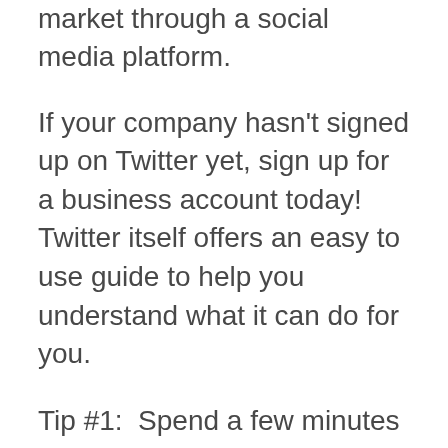market through a social media platform.
If your company hasn't signed up on Twitter yet, sign up for a business account today! Twitter itself offers an easy to use guide to help you understand what it can do for you.
Tip #1:  Spend a few minutes becoming familiar with Twitter.  Do some basic searches to find out what type of content and service is available. Search using key words that are applicable for your industry.
Tip #2:  Take note if your competitors